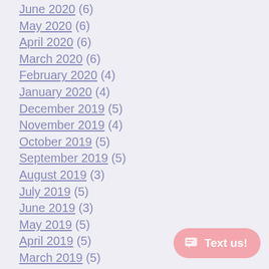June 2020 (6)
May 2020 (6)
April 2020 (6)
March 2020 (6)
February 2020 (4)
January 2020 (4)
December 2019 (5)
November 2019 (4)
October 2019 (5)
September 2019 (5)
August 2019 (3)
July 2019 (5)
June 2019 (3)
May 2019 (5)
April 2019 (5)
March 2019 (5)
January 2019 (2)
November 2018 (1)
October 2018 (2)
September 2018 (2)
August 2018 (1)